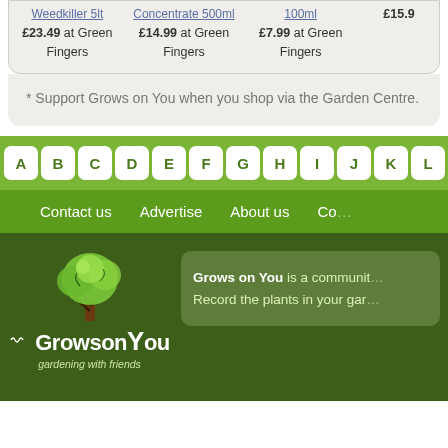Weedkiller 5lt £23.49 at Green Fingers | Concentrate 500ml £14.99 at Green Fingers | 100ml £7.99 at Green Fingers | £15.9...
* Support Grows on You when you shop via the Garden Centre.
A B C D E F G H I J K L M
Contact us  Advertise  About us  Co...
[Figure (logo): Grows on You logo — stylized green tree with Grows on You text and tagline 'gardening with friends']
Grows on You is a communit... Record the plants in your gar...